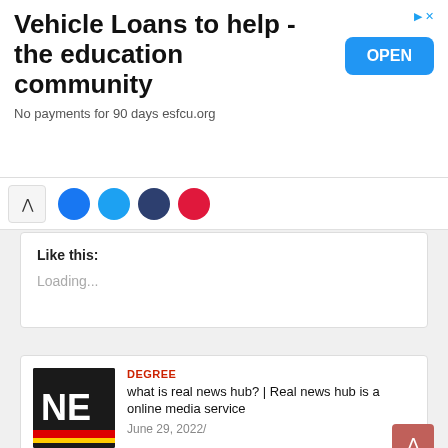[Figure (screenshot): Advertisement banner: 'Vehicle Loans to help - the education community' with OPEN button and subtitle 'No payments for 90 days esfcu.org']
[Figure (screenshot): Social share bar with chevron-up icon and colored social media circle icons]
Like this:
Loading...
[Figure (photo): Article thumbnail: dark background with 'NE' letters and German flag color stripes]
DEGREE
what is real news hub? | Real news hub is a online media service
June 29, 2022/
[Figure (photo): Article thumbnail: person holding phone with laptop and glasses on desk]
DEGREE
Technology Participated In The Advancement Of Document Management!